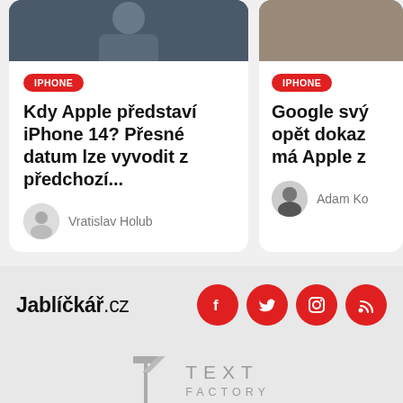[Figure (screenshot): Article card image left - dark photo of person]
IPHONE
Kdy Apple představí iPhone 14? Přesné datum lze vyvodit z předchozí...
Vratislav Holub
[Figure (screenshot): Article card image right - partially visible]
IPHONE
Google svý... opět dokaz... má Apple z...
Adam Ko...
Jablíčkář.cz
[Figure (logo): Social media icons: Facebook, Twitter, Instagram, RSS - red circles]
[Figure (logo): Text Factory logo with T icon and TEXT FACTORY text in grey]